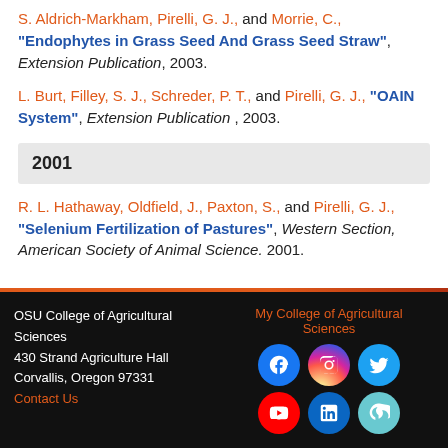S. Aldrich-Markham, Pirelli, G. J., and Morrie, C., "Endophytes in Grass Seed And Grass Seed Straw", Extension Publication, 2003.
L. Burt, Filley, S. J., Schreder, P. T., and Pirelli, G. J., "OAIN System", Extension Publication, 2003.
2001
R. L. Hathaway, Oldfield, J., Paxton, S., and Pirelli, G. J., "Selenium Fertilization of Pastures", Western Section, American Society of Animal Science. 2001.
OSU College of Agricultural Sciences
430 Strand Agriculture Hall
Corvallis, Oregon 97331
Contact Us
My College of Agricultural Sciences